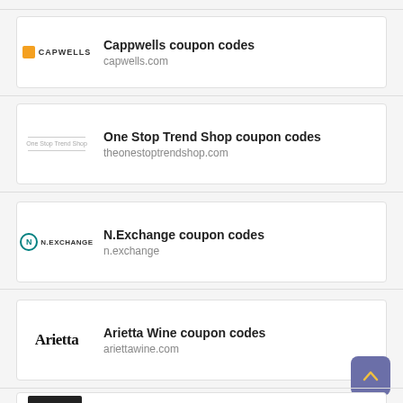Cappwells coupon codes – capwells.com
One Stop Trend Shop coupon codes – theonestoptrendshop.com
N.Exchange coupon codes – n.exchange
Arietta Wine coupon codes – ariettawine.com